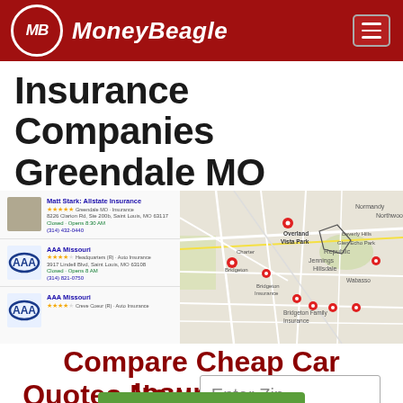MoneyBeagle
Insurance Companies Greendale MO
[Figure (screenshot): Google Maps screenshot showing insurance companies in Greendale MO area with listing panel on left showing Matt Stark: Allstate Insurance, AAA Missouri listings with ratings, addresses and phone numbers, and a map on the right with red pins marking locations.]
Compare Cheap Car Insurance Quotes Now
Enter Zip
Get Rates >